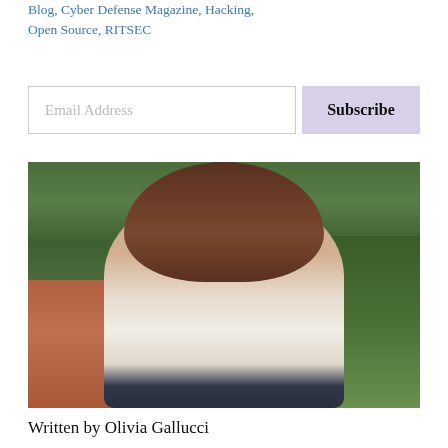Blog, Cyber Defense Magazine, Hacking, Open Source, RITSEC
Email Address | Subscribe
[Figure (photo): Portrait photo of a young woman with long brown hair, wearing a white off-shoulder top, smiling outdoors near hedges and brick pathway]
Written by Olivia Gallucci